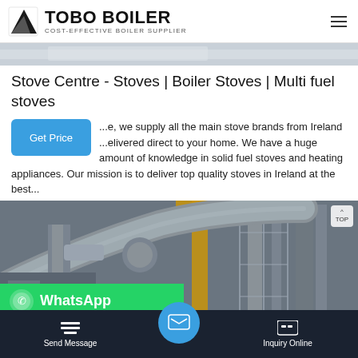TOBO BOILER - COST-EFFECTIVE BOILER SUPPLIER
[Figure (photo): Light gray ceiling/interior top strip image]
Stove Centre - Stoves | Boiler Stoves | Multi fuel stoves
...e, we supply all the main stove brands from Ireland ...elivered direct to your home. We have a huge amount of knowledge in solid fuel stoves and heating appliances. Our mission is to deliver top quality stoves in Ireland at the best...
[Figure (photo): Industrial boiler with large pipes, scaffolding, and a yellow crane in the background]
Send Message | Inquiry Online